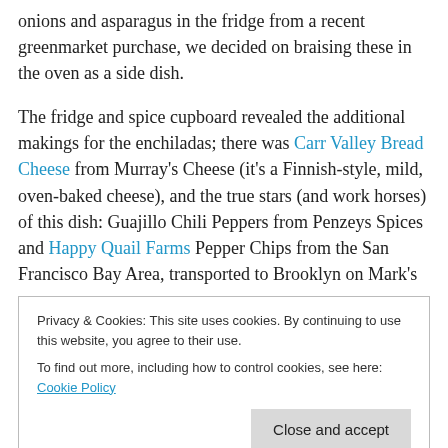onions and asparagus in the fridge from a recent greenmarket purchase, we decided on braising these in the oven as a side dish.
The fridge and spice cupboard revealed the additional makings for the enchiladas; there was Carr Valley Bread Cheese from Murray's Cheese (it's a Finnish-style, mild, oven-baked cheese), and the true stars (and work horses) of this dish: Guajillo Chili Peppers from Penzeys Spices and Happy Quail Farms Pepper Chips from the San Francisco Bay Area, transported to Brooklyn on Mark's
Privacy & Cookies: This site uses cookies. By continuing to use this website, you agree to their use.
To find out more, including how to control cookies, see here: Cookie Policy
then poured it over the peppers in a bowl, and let soak for